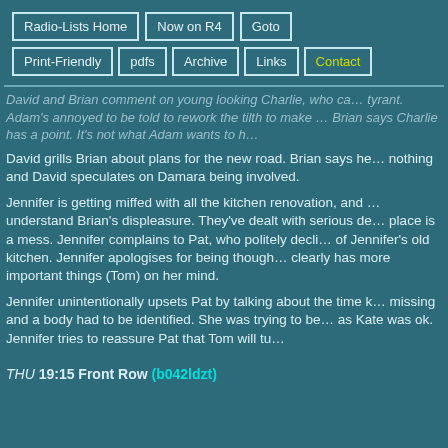Radio-Lists Home | Now on R4 | Goto | Print-Friendly | pdfs | Archive | Links | Contact
David and Brian comment on young looking Charlie, who ca... tyrant. Adam's annoyed to be told to rework the tilth to make ... Brian says Charlie has a point. It's not what Adam wants to h...
David grills Brian about plans for the new road. Brian says he... nothing and David speculates on Damara being involved.
Jennifer is getting miffed with all the kitchen renovation, and ... understand Brian's displeasure. They've dealt with serious de... place is a mess. Jennifer complains to Pat, who politely decli... of Jennifer's old kitchen. Jennifer apologises for being though... clearly has more important things (Tom) on her mind.
Jennifer unintentionally upsets Pat by talking about the time k... missing and a body had to be identified. She was trying to be... as Kate was ok. Jennifer tries to reassure Pat that Tom will tu...
THU 19:15 Front Row (b042ldzt)